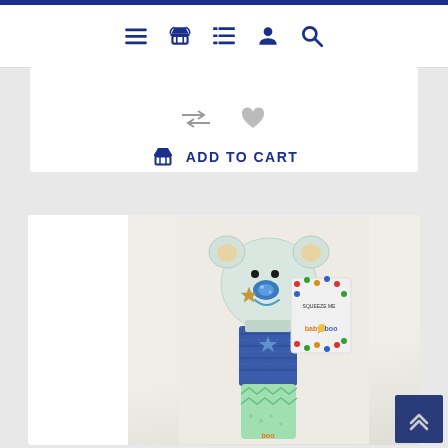Navigation bar with menu, cart, list, user, and search icons
[Figure (screenshot): E-commerce website navigation bar with blue icons: hamburger menu, shopping basket, list/filter, user profile, and search magnifier]
ADD TO CART
[Figure (photo): Baby Boo bear squeezable toy rattle with a plush bear head, blue eyes, gold star on cheek, blue knit mid-section, and green bottom with zigzag pattern. Retail tag visible with 'SQUEEZE ME' and 'baby boo' branding.]